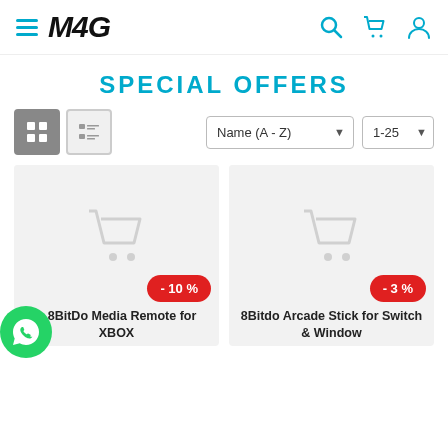M4G — Special Offers page header with navigation and icons
SPECIAL OFFERS
[Figure (screenshot): View toggle buttons (grid active, list) and sort dropdowns: Name (A-Z), 1-25]
[Figure (screenshot): Product card: 8BitDo Media Remote for XBOX with -10% discount badge and placeholder cart image]
[Figure (screenshot): Product card: 8Bitdo Arcade Stick for Switch & Window with -3% discount badge and placeholder cart image]
[Figure (screenshot): WhatsApp floating action button (green circle with WhatsApp icon) at bottom left]